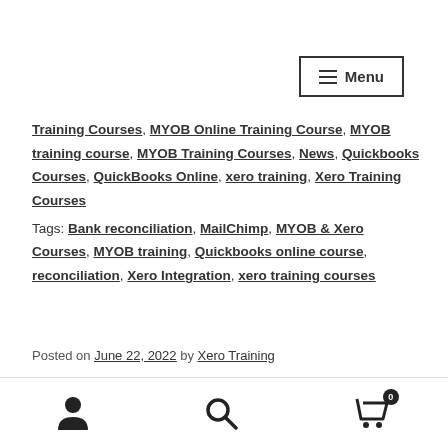Menu
Training Courses, MYOB Online Training Course, MYOB training course, MYOB Training Courses, News, Quickbooks Courses, QuickBooks Online, xero training, Xero Training Courses
Tags: Bank reconciliation, MailChimp, MYOB & Xero Courses, MYOB training, Quickbooks online course, reconciliation, Xero Integration, xero training courses
Posted on June 22, 2022 by Xero Training
NEW Bookkeeping Basics $49.0 li... C...